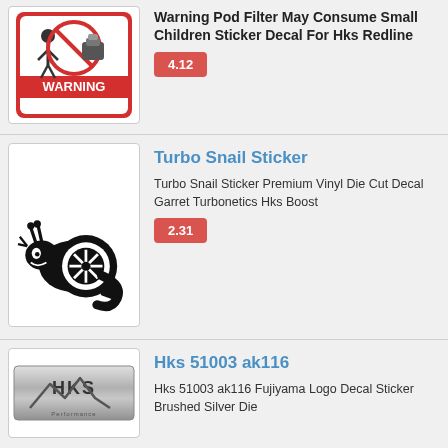[Figure (photo): WARNING sticker decal showing a pod filter with a child crossed out, red and white design]
Warning Pod Filter May Consume Small Children Sticker Decal For Hks Redline
4.12
[Figure (illustration): Turbo Snail sticker: black silhouette of a snail with a turbocharger for a shell]
Turbo Snail Sticker
Turbo Snail Sticker Premium Vinyl Die Cut Decal Garret Turbonetics Hks Boost
2.31
[Figure (photo): HKS Fujiyama logo decal sticker, brushed silver metallic finish]
Hks 51003 ak116
Hks 51003 ak116 Fujiyama Logo Decal Sticker Brushed Silver Die